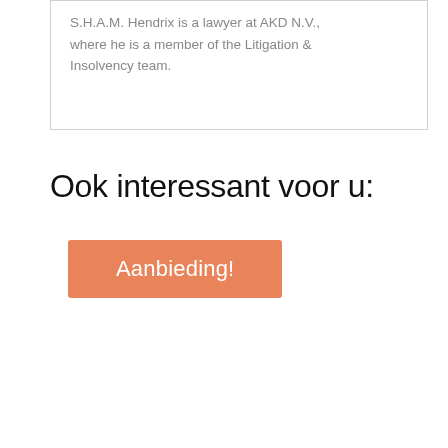S.H.A.M. Hendrix is a lawyer at AKD N.V., where he is a member of the Litigation & Insolvency team.
Ook interessant voor u:
Aanbieding!